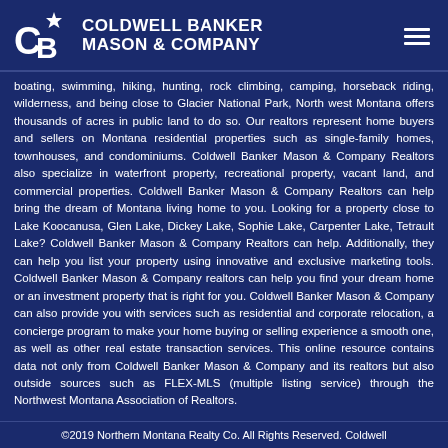[Figure (logo): Coldwell Banker Mason & Company logo with CB monogram and star]
boating, swimming, hiking, hunting, rock climbing, camping, horseback riding, wilderness, and being close to Glacier National Park, North west Montana offers thousands of acres in public land to do so. Our realtors represent home buyers and sellers on Montana residential properties such as single-family homes, townhouses, and condominiums. Coldwell Banker Mason & Company Realtors also specialize in waterfront property, recreational property, vacant land, and commercial properties. Coldwell Banker Mason & Company Realtors can help bring the dream of Montana living home to you. Looking for a property close to Lake Koocanusa, Glen Lake, Dickey Lake, Sophie Lake, Carpenter Lake, Tetrault Lake? Coldwell Banker Mason & Company Realtors can help. Additionally, they can help you list your property using innovative and exclusive marketing tools. Coldwell Banker Mason & Company realtors can help you find your dream home or an investment property that is right for you. Coldwell Banker Mason & Company can also provide you with services such as residential and corporate relocation, a concierge program to make your home buying or selling experience a smooth one, as well as other real estate transaction services. This online resource contains data not only from Coldwell Banker Mason & Company and its realtors but also outside sources such as FLEX-MLS (multiple listing service) through the Northwest Montana Association of Realtors.
©2019 Northern Montana Realty Co. All Rights Reserved. Coldwell